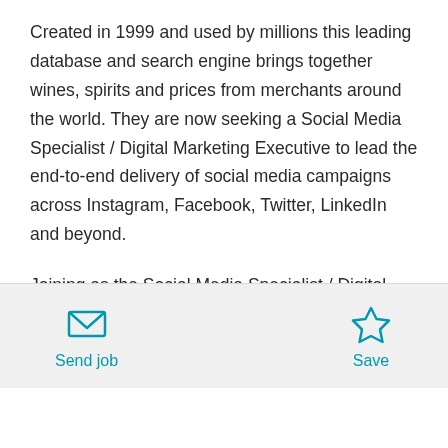Created in 1999 and used by millions this leading database and search engine brings together wines, spirits and prices from merchants around the world. They are now seeking a Social Media Specialist / Digital Marketing Executive to lead the end-to-end delivery of social media campaigns across Instagram, Facebook, Twitter, LinkedIn and beyond.
Joining as the Social Media Specialist / Digital Marketing Executive you will enjoy an exciting role that will see you make a difference across multiple platforms in different countries (USA, Hong Kong & UK). Whether you are creating social media…
Send job
Save